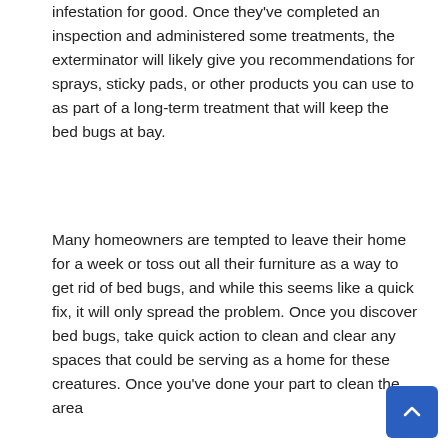infestation for good. Once they've completed an inspection and administered some treatments, the exterminator will likely give you recommendations for sprays, sticky pads, or other products you can use to as part of a long-term treatment that will keep the bed bugs at bay.
Many homeowners are tempted to leave their home for a week or toss out all their furniture as a way to get rid of bed bugs, and while this seems like a quick fix, it will only spread the problem. Once you discover bed bugs, take quick action to clean and clear any spaces that could be serving as a home for these creatures. Once you've done your part to clean the area